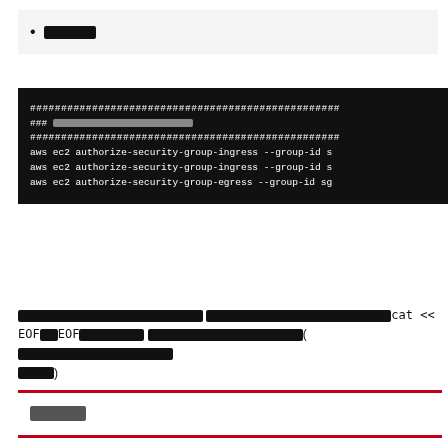█████
[Figure (screenshot): Dark terminal/code block showing AWS CLI commands for authorizing security group ingress and egress, with redacted heading lines using ### markers and hash border lines.]
██████████████████████████████ ████████████████████████████████████cat << EOF███EOF█████████ ███████████████████████████████(██████████████████████████████)
████